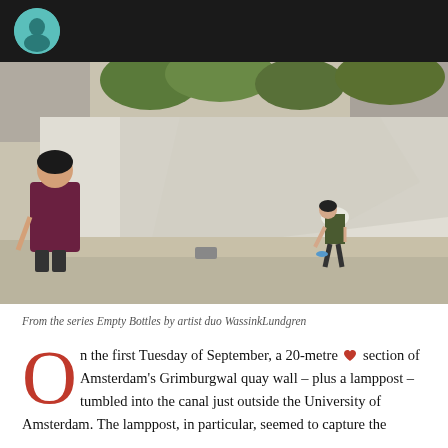[Figure (photo): Outdoor street scene with a person bending down near a white wall, and a woman walking on the left side of the street. Trees are visible in the background.]
From the series Empty Bottles by artist duo WassinkLundgren
On the first Tuesday of September, a 20-metre ♥ section of Amsterdam's Grimburgwal quay wall – plus a lamppost – tumbled into the canal just outside the University of Amsterdam. The lamppost, in particular, seemed to capture the